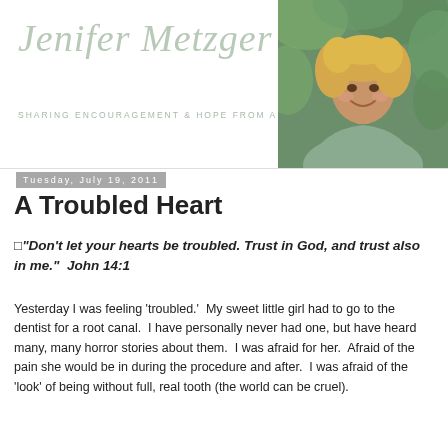[Figure (logo): Jenifer Metzger blog logo with cursive script text and tagline 'SHARING ENCOURAGEMENT & HOPE FROM ABOVE']
[Figure (photo): Portrait photo of a smiling woman with curly blonde hair wearing a sage green top, with green foliage in the background]
Tuesday, July 19, 2011
A Troubled Heart
"Don't let your hearts be troubled. Trust in God, and trust also in me."  John 14:1
Yesterday I was feeling 'troubled.'  My sweet little girl had to go to the dentist for a root canal.  I have personally never had one, but have heard many, many horror stories about them.  I was afraid for her.  Afraid of the pain she would be in during the procedure and after.  I was afraid of the 'look' of being without full, real tooth (the world can be cruel).